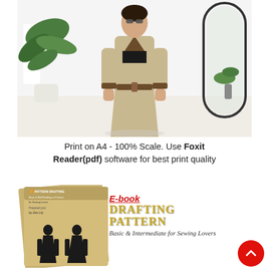[Figure (photo): A woman wearing a beige oversized coat with dark brown lapels and belt, standing in a room with large tropical plants and a mirror. She is wearing sunglasses.]
Print on A4 - 100% Scale. Use Foxit Reader(pdf) software for best print quality
[Figure (photo): E-book cover for 'Drafting Pattern: Basic & Intermediate for Sewing Lovers' showing sewing pattern illustrations and book cover. Red circle scroll-up button in bottom right.]